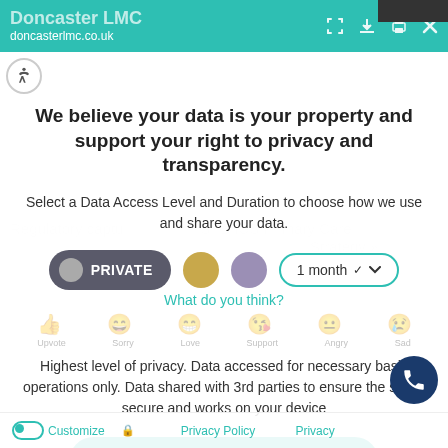Doncaster LMC | doncasterlmc.co.uk
We believe your data is your property and support your right to privacy and transparency.
Select a Data Access Level and Duration to choose how we use and share your data.
[Figure (screenshot): Privacy level selector with PRIVATE button (dark pill with grey circle), gold circle button, lavender circle button, and 1 month dropdown selector with teal border]
What do you think?
Highest level of privacy. Data accessed for necessary basic operations only. Data shared with 3rd parties to ensure the site is secure and works on your device
Save my preferences
Customize | Privacy Policy | Privacy